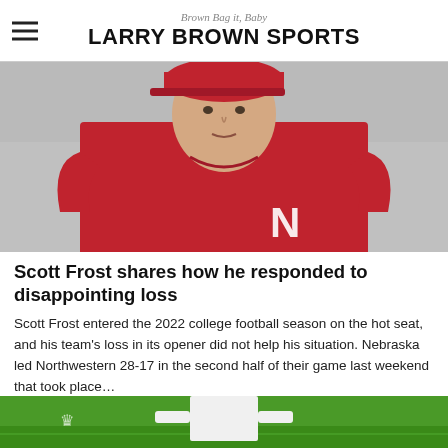Brown Bag it, Baby | LARRY BROWN SPORTS
[Figure (photo): Scott Frost, Nebraska football coach, wearing red Nebraska polo shirt and red cap, looking to the side on a field]
Scott Frost shares how he responded to disappointing loss
Scott Frost entered the 2022 college football season on the hot seat, and his team's loss in its opener did not help his situation. Nebraska led Northwestern 28-17 in the second half of their game last weekend that took place…
[Figure (photo): Partial photo of a person in white shirt on a green football field, cropped at bottom of page]